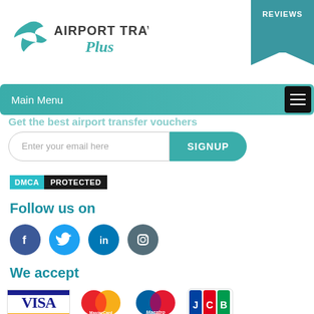[Figure (logo): Airport Travel Plus logo with teal bird icon and stylized text]
[Figure (infographic): Teal Reviews banner ribbon in top right corner]
Main Menu
Enter your email here SIGNUP
[Figure (logo): DMCA Protected badge]
Follow us on
[Figure (infographic): Social media icons: Facebook, Twitter, LinkedIn, Instagram]
We accept
[Figure (infographic): Payment method logos: Visa, MasterCard, Maestro, JCB]